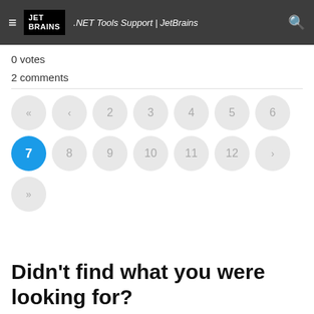JET BRAINS  .NET Tools Support | JetBrains
0 votes
2 comments
[Figure (other): Pagination control showing page buttons: «, ‹, 2, 3, 4, 5, 6 (first row); 7 (active/blue), 8, 9, 10, 11, 12, › (second row); » (third row)]
Didn't find what you were looking for?